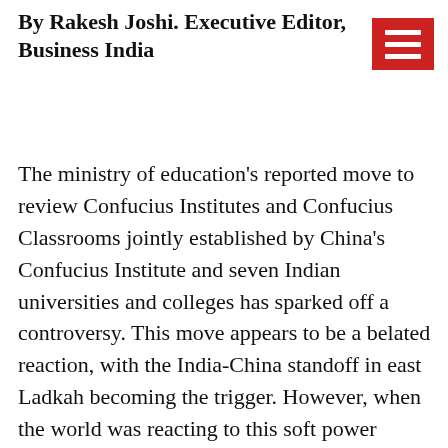By Rakesh Joshi. Executive Editor, Business India
The ministry of education's reported move to review Confucius Institutes and Confucius Classrooms jointly established by China's Confucius Institute and seven Indian universities and colleges has sparked off a controversy. This move appears to be a belated reaction, with the India-China standoff in east Ladkah becoming the trigger. However, when the world was reacting to this soft power strategy of China by proscribing the Confucius Institutes last year, India chose to turn a blind eye.